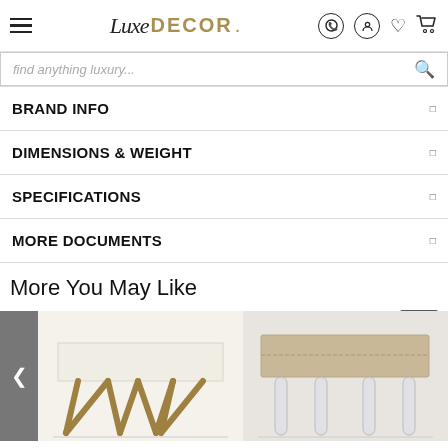LuxeDECOR
find anything luxury...
BRAND INFO
DIMENSIONS & WEIGHT
SPECIFICATIONS
MORE DOCUMENTS
More You May Like
[Figure (photo): Two luxury benches side by side: left bench has a cream/white upholstered top with decorative gold V-shaped metal legs; right bench has a taupe/beige upholstered top with clear acrylic legs.]